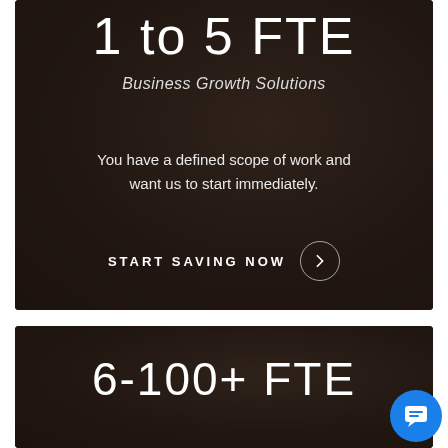1 to 5 FTE
Business Growth Solutions
You have a defined scope of work and want us to start immediately.
START SAVING NOW ›
[Figure (illustration): Dark-tinted photo background showing hands on table, with text overlay: bottom card cut off showing '6-100+ FTE']
6-100+ FTE